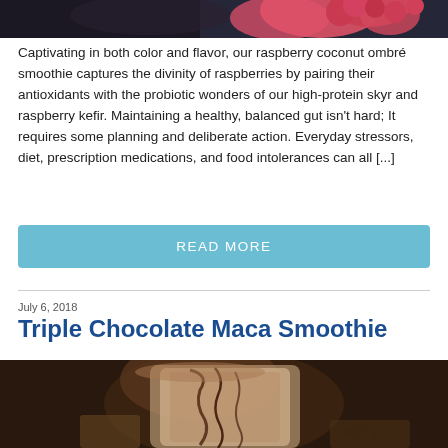[Figure (photo): Top portion of a raspberry coconut smoothie photo, showing raspberries and ice cream/smoothie on dark background]
Captivating in both color and flavor, our raspberry coconut ombré smoothie captures the divinity of raspberries by pairing their antioxidants with the probiotic wonders of our high-protein skyr and raspberry kefir. Maintaining a healthy, balanced gut isn't hard; It requires some planning and deliberate action. Everyday stressors, diet, prescription medications, and food intolerances can all [...]
READ MORE
July 6, 2018
Triple Chocolate Maca Smoothie
[Figure (photo): A glass of triple chocolate maca smoothie with chocolate drizzle on top, sitting on a wooden surface with nuts scattered around, dark moody background]